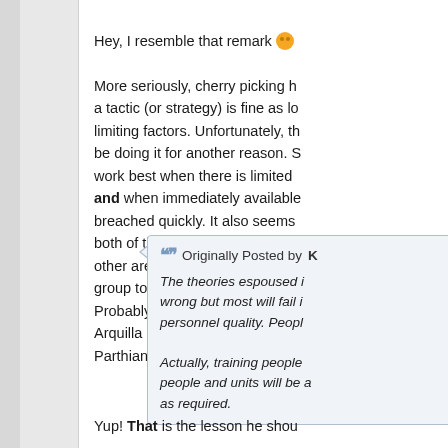Hey, I resemble that remark 😊

More seriously, cherry picking h... a tactic (or strategy) is fine as lo... limiting factors. Unfortunately, t... be doing it for another reason. S... work best when there is limited ... and when immediately available... breached quickly. It also seems ... both of those conditions and the... other area, usually moral via lo... group to invest heavily in infras... Probably the classic campaign a... Arquilla does not mention, was ... Parthians.
Originally Posted by K...
The theories espoused i... wrong but most will fail i... personnel quality. Peopl...

Actually, training people ... people and units will be a... as required.
Yup! That is the lesson he shou...